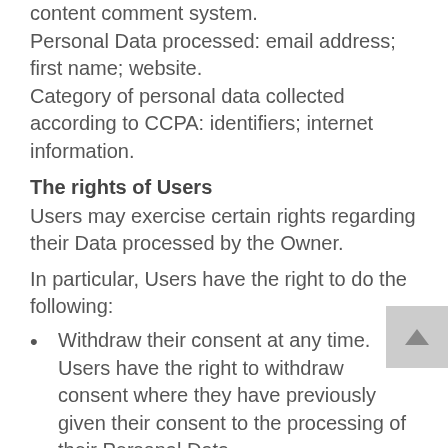content comment system. Personal Data processed: email address; first name; website. Category of personal data collected according to CCPA: identifiers; internet information.
The rights of Users
Users may exercise certain rights regarding their Data processed by the Owner.
In particular, Users have the right to do the following:
Withdraw their consent at any time. Users have the right to withdraw consent where they have previously given their consent to the processing of their Personal Data.
Object to processing of their Data. Users have the right to object to the